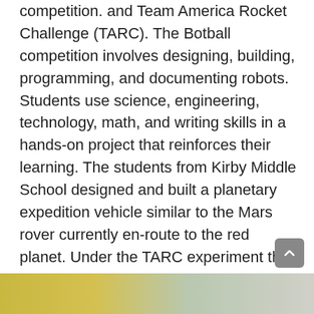competition. and Team America Rocket Challenge (TARC). The Botball competition involves designing, building, programming, and documenting robots. Students use science, engineering, technology, math, and writing skills in a hands-on project that reinforces their learning. The students from Kirby Middle School designed and built a planetary expedition vehicle similar to the Mars rover currently en-route to the red planet. Under the TARC experiment the students built a 3 foot high rocket including a payload of two raw eggs. The goal was to reach an altitude of 600 feet and return to earth within 43 seconds with the eggs still intact. The Challenger interns successfully achieved their mission.
[Figure (photo): A photo strip visible at the bottom of the page showing what appears to be objects with yellow/gold and grey tones.]